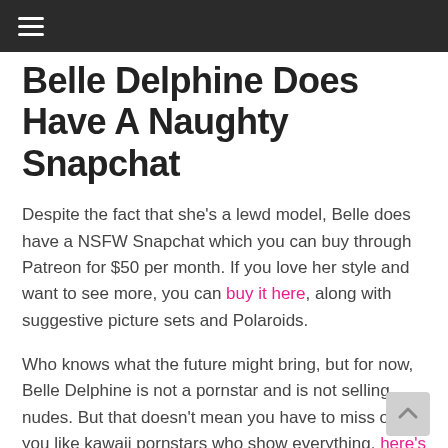≡
Belle Delphine Does Have A Naughty Snapchat
Despite the fact that she's a lewd model, Belle does have a NSFW Snapchat which you can buy through Patreon for $50 per month. If you love her style and want to see more, you can buy it here, along with suggestive picture sets and Polaroids.
Who knows what the future might bring, but for now, Belle Delphine is not a pornstar and is not selling nudes. But that doesn't mean you have to miss out. If you like kawaii pornstars who show everything, here's our list of ten.